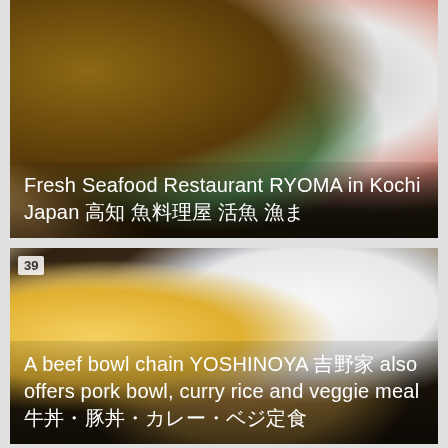[Figure (photo): Top-down view of a Japanese seafood meal set on a dark tray, including a bowl of rice, sashimi bowl, miso soup with seaweed, and small side dishes with pickled vegetables]
Fresh Seafood Restaurant RYOMA in Kochi Japan 高知 魚料理屋 活魚 漁ま
[Figure (photo): Japanese beef bowl chain Yoshinoya set meal on a black tray: bowl of white rice in blue-rimmed bowl, miso soup in black bowl, raw egg in white dish, and gyudon (beef bowl) with seasoned beef]
A beef bowl chain YOSHINOYA 吉野家 also offers pork bowl, curry rice and veggie meal 牛丼・豚丼・カレー・ベジ定食